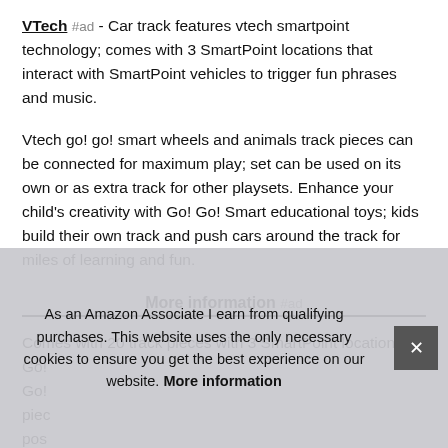VTech #ad - Car track features vtech smartpoint technology; comes with 3 SmartPoint locations that interact with SmartPoint vehicles to trigger fun phrases and music.
Vtech go! go! smart wheels and animals track pieces can be connected for maximum play; set can be used on its own or as extra track for other playsets. Enhance your child's creativity with Go! Go! Smart educational toys; kids build their own track and push cars around the track for miles of learning and fun.
More information #ad
Comes with 20 track pieces with 3 SmartPoint locations; Go! Go!... pieces... possible... requires...
As an Amazon Associate I earn from qualifying purchases. This website uses the only necessary cookies to ensure you get the best experience on our website. More information